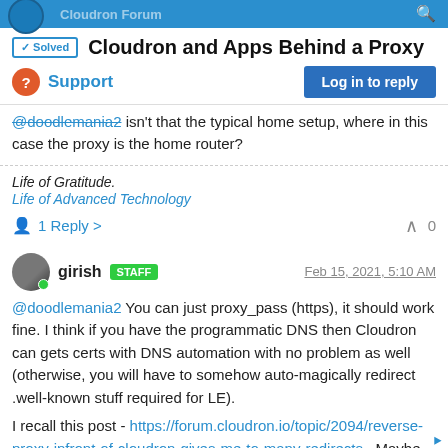Cloudron Forum
✓ Solved  Cloudron and Apps Behind a Proxy
? Support
@doodlemania2 isn't that the typical home setup, where in this case the proxy is the home router?
Life of Gratitude.
Life of Advanced Technology
1 Reply >   ^ 0
girish STAFF  Feb 15, 2021, 5:10 AM
@doodlemania2 You can just proxy_pass (https), it should work fine. I think if you have the programmatic DNS then Cloudron can gets certs with DNS automation with no problem as well (otherwise, you will have to somehow auto-magically redirect .well-known stuff required for LE).
I recall this post - https://forum.cloudron.io/topic/2094/reverse-proxy-infront-of-cloudron-gives-me-to-many-redirects . Maybe